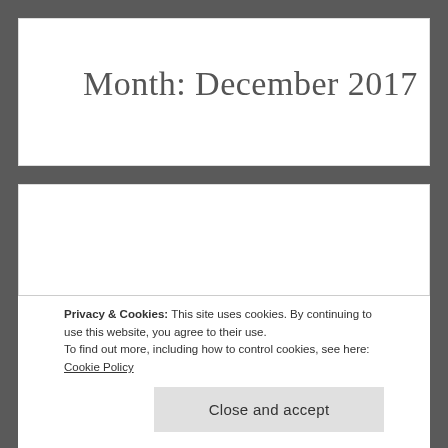Month: December 2017
Reflective Comments for the November 2017 Session at DeVry University in San Antonio
Privacy & Cookies: This site uses cookies. By continuing to use this website, you agree to their use.
To find out more, including how to control cookies, see here: Cookie Policy
Close and accept